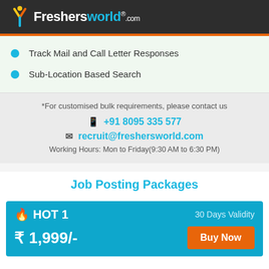Freshersworld.com
Track Mail and Call Letter Responses
Sub-Location Based Search
*For customised bulk requirements, please contact us
+91 8095 335 577
recruit@freshersworld.com
Working Hours: Mon to Friday(9:30 AM to 6:30 PM)
Job Posting Packages
HOT 1  30 Days Validity  ₹ 1,999/-  Buy Now